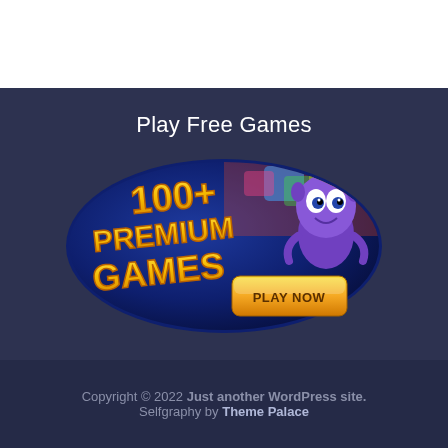Play Free Games
[Figure (illustration): Oval-shaped game advertisement banner with text '100+ PREMIUM GAMES' in gold letters on a dark blue background, a purple cartoon character on the right, colorful game icons in the background, and a yellow 'PLAY NOW' button.]
Copyright © 2022 Just another WordPress site. Selfgraphy by Theme Palace